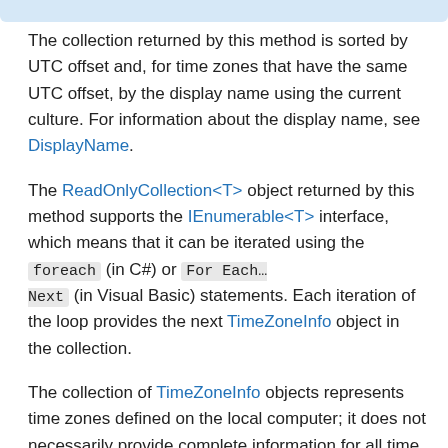The collection returned by this method is sorted by UTC offset and, for time zones that have the same UTC offset, by the display name using the current culture. For information about the display name, see DisplayName.
The ReadOnlyCollection<T> object returned by this method supports the IEnumerable<T> interface, which means that it can be iterated using the foreach (in C#) or For Each... Next (in Visual Basic) statements. Each iteration of the loop provides the next TimeZoneInfo object in the collection.
The collection of TimeZoneInfo objects represents time zones defined on the local computer; it does not necessarily provide complete information for all time zones during all time periods. If your application requires time zones not found on the local computer, you can create custom time zones using the overloads of the CreateCustomTimeZone